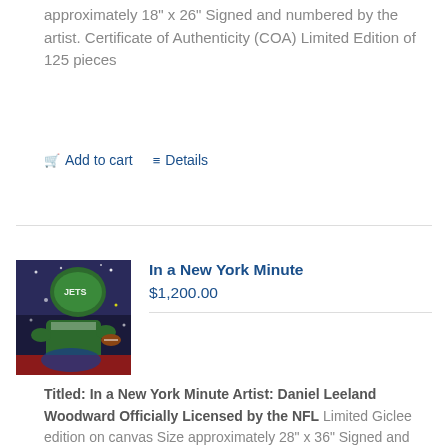approximately 18" x 26" Signed and numbered by the artist. Certificate of Authenticity (COA) Limited Edition of 125 pieces
Add to cart   Details
[Figure (photo): Sports artwork showing a New York Jets football player in green uniform with JETS helmet visible, painted in a vivid illustrated style]
In a New York Minute
$1,200.00
Titled: In a New York Minute Artist: Daniel Leeland Woodward Officially Licensed by the NFL Limited Giclee edition on canvas Size approximately 28" x 36" Signed and numbered by the artist.